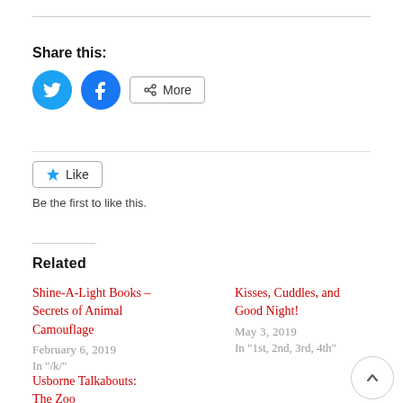Share this:
[Figure (other): Social share buttons: Twitter (blue circle with bird icon), Facebook (blue circle with f icon), and More button with share icon]
[Figure (other): Like button with star icon, followed by text: Be the first to like this.]
Be the first to like this.
Related
Shine-A-Light Books – Secrets of Animal Camouflage
February 6, 2019
In "/k/"
Kisses, Cuddles, and Good Night!
May 3, 2019
In "1st, 2nd, 3rd, 4th"
Usborne Talkabouts: The Zoo